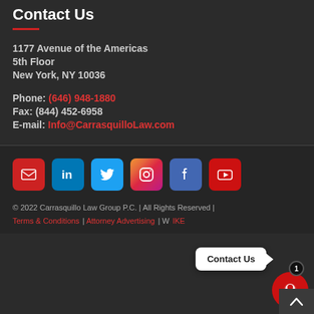Contact Us
1177 Avenue of the Americas
5th Floor
New York, NY 10036
Phone: (646) 948-1880
Fax: (844) 452-6958
E-mail: Info@CarrasquilloLaw.com
[Figure (infographic): Social media icons: email (red), LinkedIn (blue), Twitter (cyan), Instagram (gradient), Facebook (indigo), YouTube (red)]
© 2022 Carrasquillo Law Group P.C. | All Rights Reserved | Terms & Conditions | Attorney Advertising | Website by IKE
Contact Us (chat popup bubble)